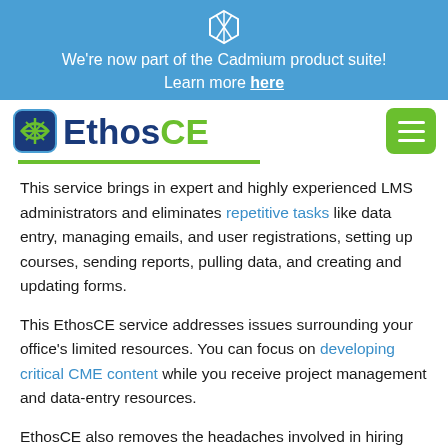We're now part of the Cadmium product suite! Learn more here
[Figure (logo): EthosCE logo with icon and green menu button]
This service brings in expert and highly experienced LMS administrators and eliminates repetitive tasks like data entry, managing emails, and user registrations, setting up courses, sending reports, pulling data, and creating and updating forms.
This EthosCE service addresses issues surrounding your office's limited resources. You can focus on developing critical CME content while you receive project management and data-entry resources.
EthosCE also removes the headaches involved in hiring and rehiring staff or using students or temp staff. Services can be done